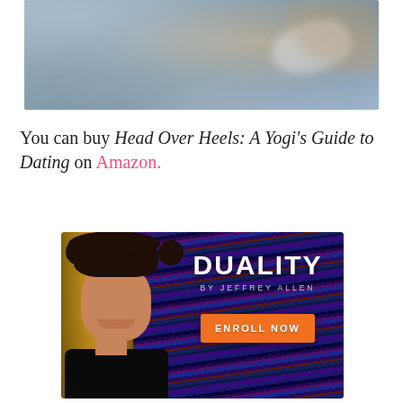[Figure (photo): Blurred close-up photo of hands or objects on a surface, with soft bokeh background in grey and warm tones]
You can buy Head Over Heels: A Yogi's Guide to Dating on Amazon.
[Figure (infographic): Advertisement banner for 'Duality by Jeffrey Allen' showing a smiling man with curly hair against a colorful striped background and wooden texture, with an orange 'Enroll Now' button]